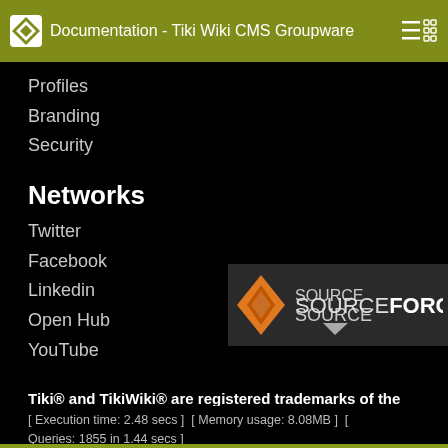Documentation - Tiki Wiki CMS Groupware
Profiles
Branding
Security
Networks
Twitter
Facebook
Linkedin
Open Hub
YouTube
Tiki® and TikiWiki® are registered trademarks of the Tiki Software Community Association.
[Figure (logo): SourceForge logo with orange diamond icon and bold white SOURCEFORGE text on dark background]
[ Execution time: 2.48 secs ]  [ Memory usage: 8.08MB ]  [ Queries: 1855 in 1.44 secs ]